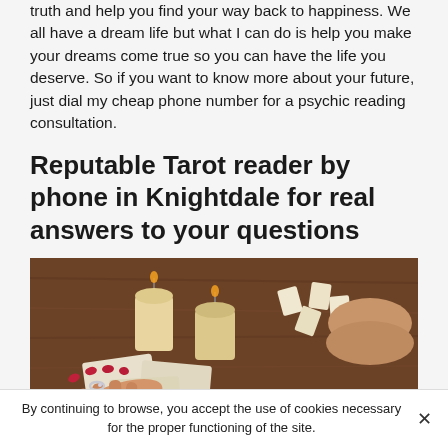truth and help you find your way back to happiness. We all have a dream life but what I can do is help you make your dreams come true so you can have the life you deserve. So if you want to know more about your future, just dial my cheap phone number for a psychic reading consultation.
Reputable Tarot reader by phone in Knightdale for real answers to your questions
[Figure (photo): A photo of a tarot card reading session on a wooden table with candles, tarot cards spread out, and two pairs of hands — one with rings and red nail polish, the other resting clasped.]
By continuing to browse, you accept the use of cookies necessary for the proper functioning of the site.